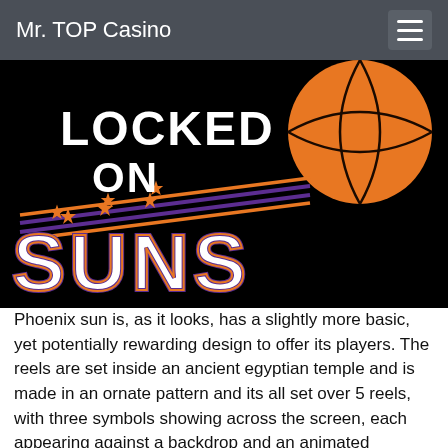Mr. TOP Casino
[Figure (illustration): Locked On Suns logo/graphic: black background with large white bold text 'LOCKED ON' at top, large orange basketball on the right, purple and gold Phoenix Suns-style swish lines with gold stars, and large white outlined text 'SUNS' at the bottom in purple/orange color scheme.]
Phoenix sun is, as it looks, has a slightly more basic, yet potentially rewarding design to offer its players. The reels are set inside an ancient egyptian temple and is made in an ornate pattern and its all set over 5 reels, with three symbols showing across the screen, each appearing against a backdrop and an animated sequence that will be randomly crossed ears. When playing card of course slot machine, i stands a lot to a